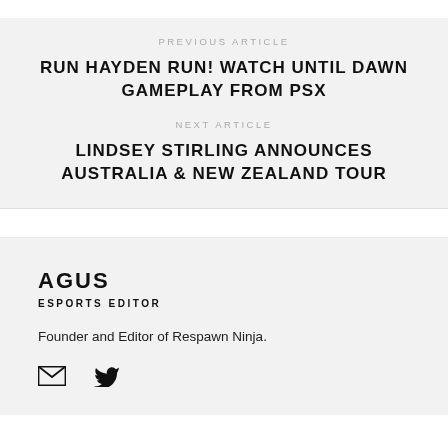PREVIOUS ARTICLE
RUN HAYDEN RUN! WATCH UNTIL DAWN GAMEPLAY FROM PSX
NEXT ARTICLE
LINDSEY STIRLING ANNOUNCES AUSTRALIA & NEW ZEALAND TOUR
AGUS
ESPORTS EDITOR
Founder and Editor of Respawn Ninja.